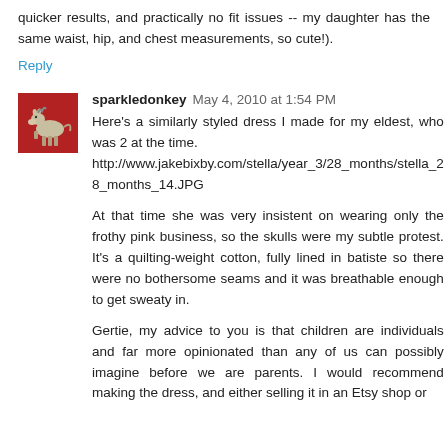quicker results, and practically no fit issues -- my daughter has the same waist, hip, and chest measurements, so cute!).
Reply
[Figure (photo): Small red square avatar image with a donkey/horse illustration for user sparkledonkey]
sparkledonkey   May 4, 2010 at 1:54 PM
Here's a similarly styled dress I made for my eldest, who was 2 at the time. http://www.jakebixby.com/stella/year_3/28_months/stella_28_months_14.JPG
At that time she was very insistent on wearing only the frothy pink business, so the skulls were my subtle protest. It's a quilting-weight cotton, fully lined in batiste so there were no bothersome seams and it was breathable enough to get sweaty in.
Gertie, my advice to you is that children are individuals and far more opinionated than any of us can possibly imagine before we are parents. I would recommend making the dress, and either selling it in an Etsy shop or